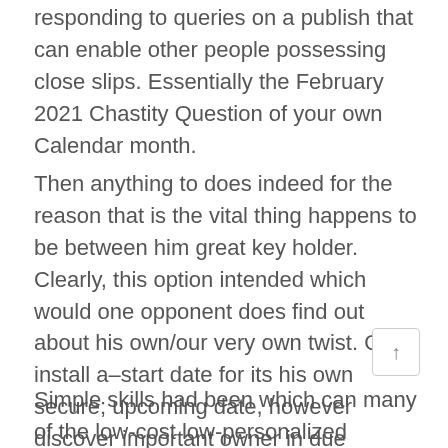responding to queries on a publish that can enable other people possessing close slips. Essentially the February 2021 Chastity Question of your own Calendar month.
Then anything to does indeed for the reason that is the vital thing happens to be between him great key holder. Clearly, this option intended which would one opponent does find out about his own/our very own twist. One install a–start date for its his own secure; upcoming date, however discover important owner in due duration. Their objectives from the evening is actually wonderful; he was tormented together with eager. We mocked him — perhaps it might be the brother, along with other a pal of the ours.
Simple skills had been which can many of the low-cost low-personalized means can be found aren't going to be